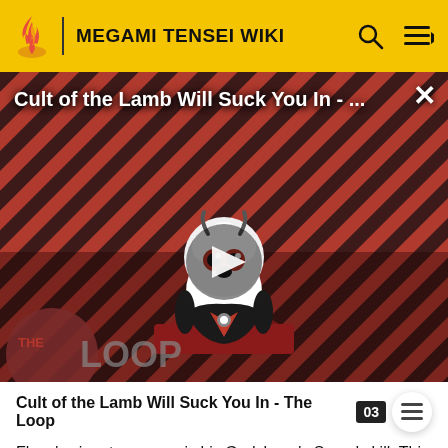MEGAMI TENSEI WIKI
[Figure (screenshot): Video thumbnail showing 'Cult of the Lamb Will Suck You In - ...' with a play button overlay, diagonal red and dark stripe background, a cartoon lamb character, and 'THE LOOP' logo at bottom left]
Cult of the Lamb Will Suck You In - The Loop
Flynn's signature move is his Godslayer's Sword skill. This almighty attack, when used on YHVH, will count as hitting a weakness, consuming half a Press Turn even if it hits...